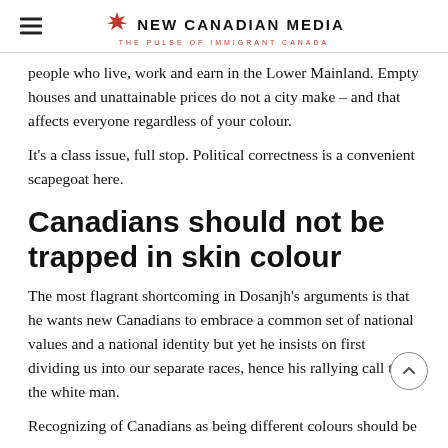NEW CANADIAN MEDIA — THE PULSE OF IMMIGRANT CANADA
people who live, work and earn in the Lower Mainland. Empty houses and unattainable prices do not a city make – and that affects everyone regardless of your colour.
It's a class issue, full stop. Political correctness is a convenient scapegoat here.
Canadians should not be trapped in skin colour
The most flagrant shortcoming in Dosanjh's arguments is that he wants new Canadians to embrace a common set of national values and a national identity but yet he insists on first dividing us into our separate races, hence his rallying call to the white man.
Recognizing of Canadians as being different colours should be...